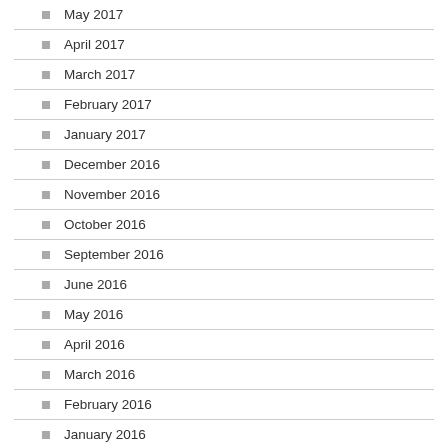May 2017
April 2017
March 2017
February 2017
January 2017
December 2016
November 2016
October 2016
September 2016
June 2016
May 2016
April 2016
March 2016
February 2016
January 2016